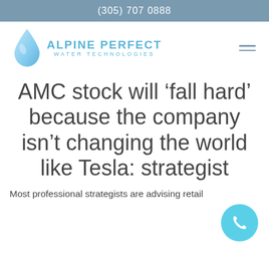(305) 707 0888
[Figure (logo): Alpine Perfect Water Technologies logo with water drop icon and company name in blue]
AMC stock will ‘fall hard’ because the company isn’t changing the world like Tesla: strategist
Most professional strategists are advising retail